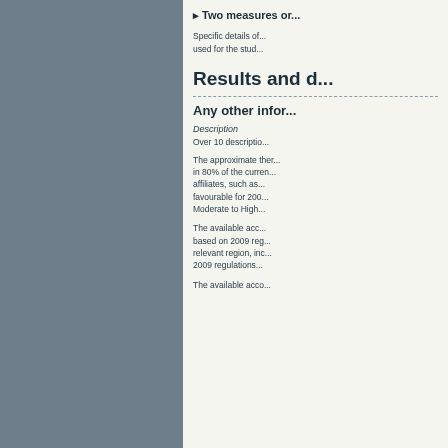Two measures or...
Specific details of... used for the stud...
Results and d...
Any other infor...
Description
Over 10 descriptio...
The approximate ther... in 80% of the curren... affiliates, such as... favourable for 200... Moderate to High...
The available acc... based on 2009 reg... relevant region, inc... 2009 regulations...
The available acco...